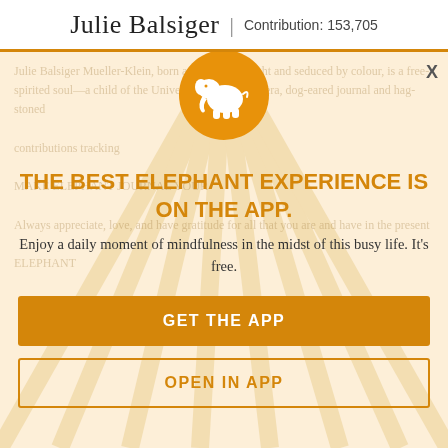Julie Balsiger | Contribution: 153,705
[Figure (illustration): Orange circle with white elephant silhouette logo]
THE BEST ELEPHANT EXPERIENCE IS ON THE APP.
Enjoy a daily moment of mindfulness in the midst of this busy life. It's free.
GET THE APP
OPEN IN APP